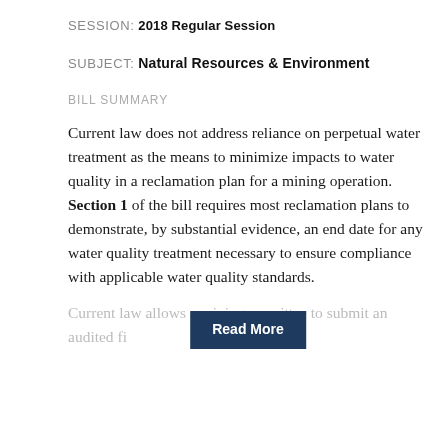SESSION: 2018 Regular Session
SUBJECT: Natural Resources & Environment
BILL SUMMARY
Current law does not address reliance on perpetual water treatment as the means to minimize impacts to water quality in a reclamation plan for a mining operation. Section 1 of the bill requires most reclamation plans to demonstrate, by substantial evidence, an end date for any water quality treatment necessary to ensure compliance with applicable water quality standards.
Current law allows a mining permittee to submit an audited financial statement as proof that